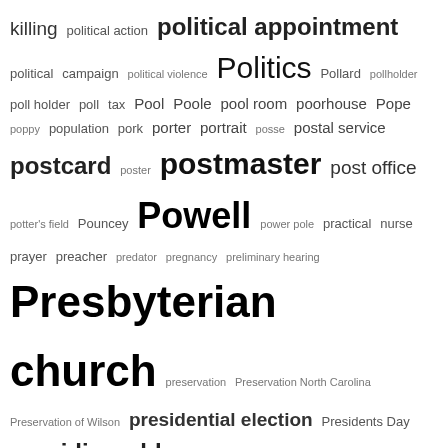killing political action political appointment political campaign political violence Politics Pollard pollholder poll holder poll tax Pool Poole pool room poorhouse Pope poppy population pork porter portrait posse postal service postcard poster postmaster post office potter's field Pouncey Powell power pole practical nurse prayer preacher predator pregnancy preliminary hearing Presbyterian church preservation Preservation North Carolina Preservation of Wilson presidential election Presidents Day presiding elder press presser pressing club pressing shop Price Pridgen primer Primitive Baptist Primitive Baptist Church Prince Prince Hall Masons principal prison prison camp prisoner prisoner abuse Pritchitt Privett privy prize prize drawing probate professional association professional license professor progressive prom promissory note property property division property line property sale property tax prostitution protest Psalms pseudo-scientific racism public assistance public health public history public intoxication public lecture public library public meeting Public Records Law public service public speaking